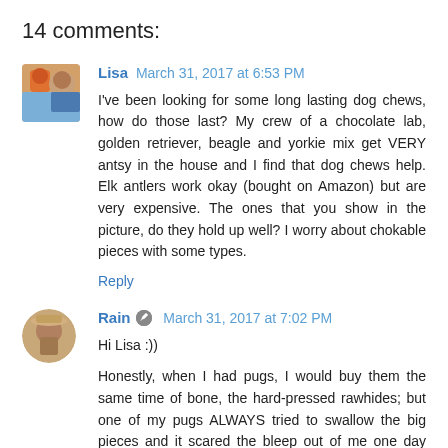14 comments:
Lisa  March 31, 2017 at 6:53 PM
I've been looking for some long lasting dog chews, how do those last? My crew of a chocolate lab, golden retriever, beagle and yorkie mix get VERY antsy in the house and I find that dog chews help. Elk antlers work okay (bought on Amazon) but are very expensive. The ones that you show in the picture, do they hold up well? I worry about chokable pieces with some types.
Reply
Rain  March 31, 2017 at 7:02 PM
Hi Lisa :))

Honestly, when I had pugs, I would buy them the same time of bone, the hard-pressed rawhides; but one of my pugs ALWAYS tried to swallow the big pieces and it scared the bleep out of me one day when I had to plunge my hand